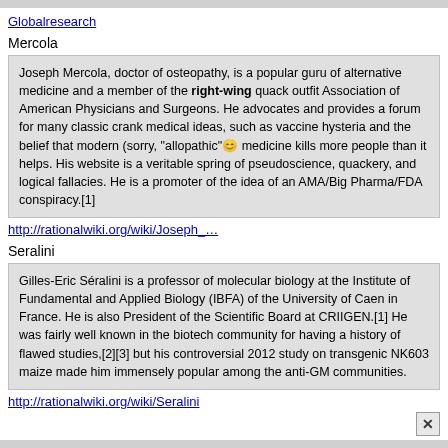Globalresearch
Mercola
Joseph Mercola, doctor of osteopathy, is a popular guru of alternative medicine and a member of the right-wing quack outfit Association of American Physicians and Surgeons. He advocates and provides a forum for many classic crank medical ideas, such as vaccine hysteria and the belief that modern (sorry, "allopathic" 😊) medicine kills more people than it helps. His website is a veritable spring of pseudoscience, quackery, and logical fallacies. He is a promoter of the idea of an AMA/Big Pharma/FDA conspiracy.[1]
http://rationalwiki.org/wiki/Joseph_…
Seralini
Gilles-Eric Séralini is a professor of molecular biology at the Institute of Fundamental and Applied Biology (IBFA) of the University of Caen in France. He is also President of the Scientific Board at CRIIGEN.[1] He was fairly well known in the biotech community for having a history of flawed studies,[2][3] but his controversial 2012 study on transgenic NK603 maize made him immensely popular among the anti-GM communities.
http://rationalwiki.org/wiki/Seralini